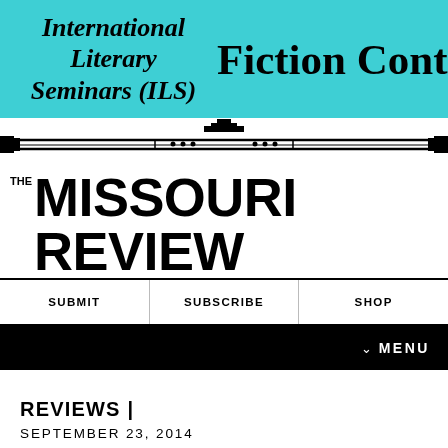[Figure (logo): Teal banner with 'International Literary Seminars (ILS) Fiction Contest' text]
[Figure (illustration): Art deco decorative horizontal rule with central ornament]
THE MISSOURI REVIEW
SUBMIT | SUBSCRIBE | SHOP
MENU
REVIEWS |
SEPTEMBER 23, 2014